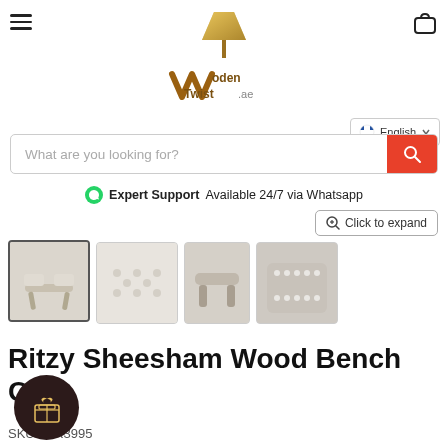WoodenTwist.ae — English
What are you looking for?
Expert Support Available 24/7 via Whatsapp
Click to expand
[Figure (photo): Four thumbnail images of the Ritzy Sheesham Wood Bench, showing white upholstered bench from different angles]
Ritzy Sheesham Wood Bench C...
SKU: WR3995